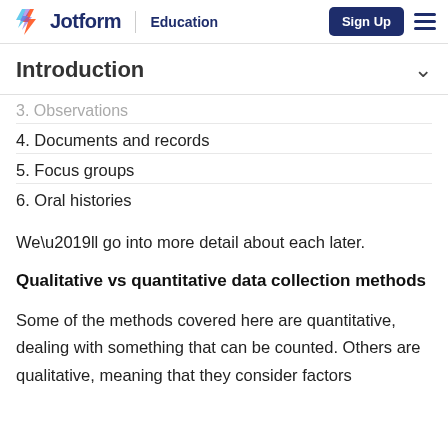Jotform | Education | Sign Up
Introduction
3. Observations
4. Documents and records
5. Focus groups
6. Oral histories
We’ll go into more detail about each later.
Qualitative vs quantitative data collection methods
Some of the methods covered here are quantitative, dealing with something that can be counted. Others are qualitative, meaning that they consider factors